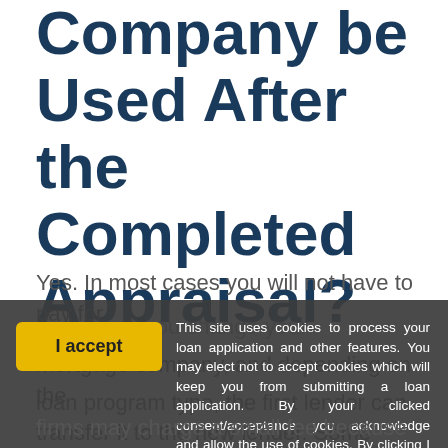Company be Used After the Completed Appraisal?
Yes. In most cases you will not have to pay for another appraisal. If you change your mortgage company, and depending on the loan program type, the first lender can transfer it to the new lender. Some appraisal firms may charge a small fee because
This site uses cookies to process your loan application and other features. You may elect not to accept cookies which will keep you from submitting a loan application. By your clicked consent/acceptance you acknowledge and allow the use of cookies. By clicking I Accept you acknowledge you have read and understand KAM Financial & Realty, Inc.'s Privacy Policy.